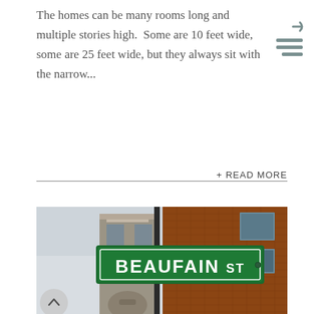The homes can be many rooms long and multiple stories high.  Some are 10 feet wide, some are 25 feet wide, but they always sit with the narrow...
+ READ MORE
[Figure (photo): Street sign reading 'BEAUFAIN ST' on a green sign mounted on a pole, with a red brick multi-story building visible in the background.]